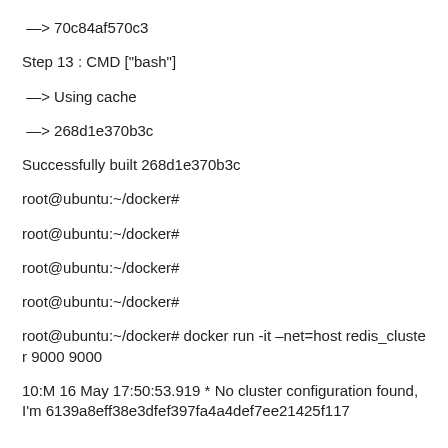—> 70c84af570c3
Step 13 : CMD ["bash"]
—> Using cache
—> 268d1e370b3c
Successfully built 268d1e370b3c
root@ubuntu:~/docker#
root@ubuntu:~/docker#
root@ubuntu:~/docker#
root@ubuntu:~/docker#
root@ubuntu:~/docker# docker run -it –net=host redis_cluster 9000 9000
10:M 16 May 17:50:53.919 * No cluster configuration found, I'm 6139a8eff38e3dfef397fa4a4def7ee21425f117